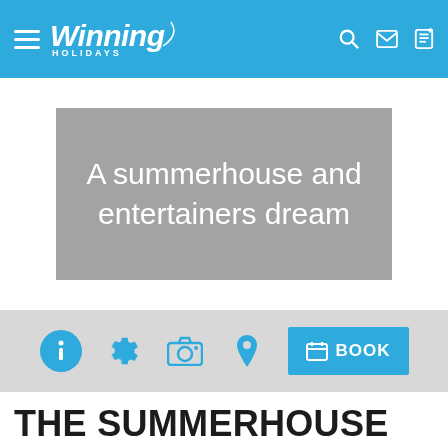Winning Holidays
[Figure (illustration): Grey banner with cursive white text reading: A summerhouse and entertainers dream]
[Figure (infographic): Action bar with info, gear, camera, pin icons in blue and a blue BOOK button]
THE SUMMERHOUSE